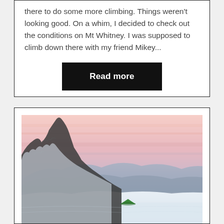there to do some more climbing. Things weren't looking good. On a whim, I decided to check out the conditions on Mt Whitney. I was supposed to climb down there with my friend Mikey...
Read more
[Figure (photo): A mountain landscape at dusk or dawn with a pink and purple sky, a snow-covered slope with rocky outcrops on the left, and a small green tent visible in the snow in the foreground.]